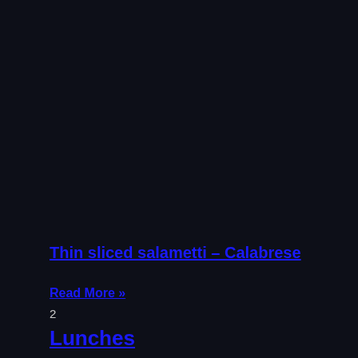Thin sliced salametti – Calabrese
Read More »
2
Lunches